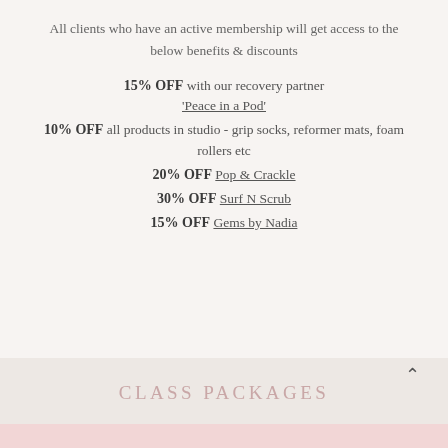All clients who have an active membership will get access to the below benefits & discounts
15% OFF with our recovery partner 'Peace in a Pod'
10% OFF all products in studio - grip socks, reformer mats, foam rollers etc
20% OFF Pop & Crackle
30% OFF Surf N Scrub
15% OFF Gems by Nadia
CLASS PACKAGES